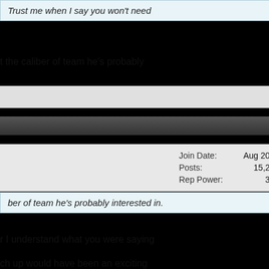Trust me when I say you won't need
t the caliber of team he's probably
Reply With Quote
#993
| Join Date: | Aug 2010 |
| Posts: | 15,276 |
| Rep Power: | 303 |
ber of team he's probably interested in.
r I understand what you were saying
ch up would have been an exciting